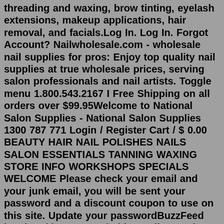threading and waxing, brow tinting, eyelash extensions, makeup applications, hair removal, and facials.Log In. Log In. Forgot Account? Nailwholesale.com - wholesale nail supplies for pros: Enjoy top quality nail supplies at true wholesale prices, serving salon professionals and nail artists. Toggle menu 1.800.543.2167 I Free Shipping on all orders over $99.95Welcome to National Salon Supplies - National Salon Supplies 1300 787 771 Login / Register Cart / $ 0.00 BEAUTY HAIR NAIL POLISHES NAILS SALON ESSENTIALS TANNING WAXING STORE INFO WORKSHOPS SPECIALS WELCOME Please check your email and your junk email, you will be sent your password and a discount coupon to use on this site. Update your passwordBuzzFeed has breaking news, vital journalism, quizzes, videos, celeb news, Tasty food videos, recipes, DIY hacks, and all the trending buzz you'll want to share with your friends. Copyright BuzzFeed, Inc...Welcome to Santander. We offer current accounts, savings, mortgages, loans, credit